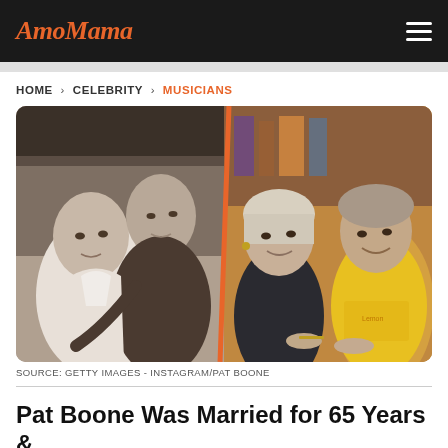AmoMama
HOME > CELEBRITY > MUSICIANS
[Figure (photo): Split composite photo: left side is a black-and-white vintage photo of a young couple (woman and man embracing, smiling); right side is a color photo of an older couple smiling together, the man wearing a yellow sweatshirt.]
SOURCE: GETTY IMAGES - INSTAGRAM/PAT BOONE
Pat Boone Was Married for 65 Years &